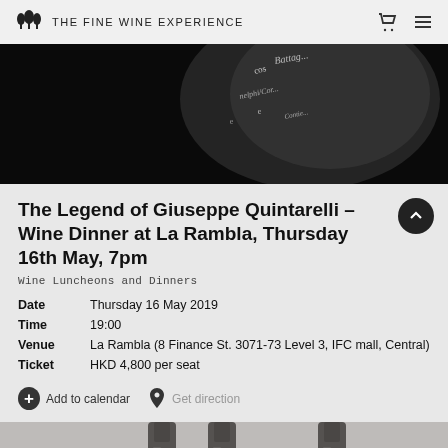THE FINE WINE EXPERIENCE
[Figure (photo): Black and white close-up photo of a wine bottle label showing cursive text]
The Legend of Giuseppe Quintarelli – Wine Dinner at La Rambla, Thursday 16th May, 7pm
Wine Luncheons and Dinners
Date: Thursday 16 May 2019
Time: 19:00
Venue: La Rambla (8 Finance St. 3071-73 Level 3, IFC mall, Central)
Ticket: HKD 4,800 per seat
Add to calendar   Get direction
[Figure (photo): Black and white photo showing tops of wine bottles]